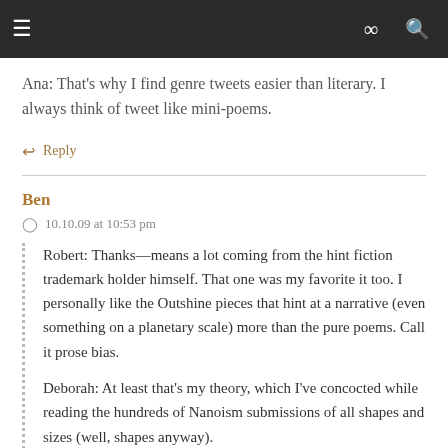≡ [navigation bar] ∞ 🔍
Ana: That's why I find genre tweets easier than literary. I always think of tweet like mini-poems.
↩ Reply
Ben
10.10.09 at 10:53 pm
Robert: Thanks—means a lot coming from the hint fiction trademark holder himself. That one was my favorite it too. I personally like the Outshine pieces that hint at a narrative (even something on a planetary scale) more than the pure poems. Call it prose bias.
Deborah: At least that's my theory, which I've concocted while reading the hundreds of Nanoism submissions of all shapes and sizes (well, shapes anyway).